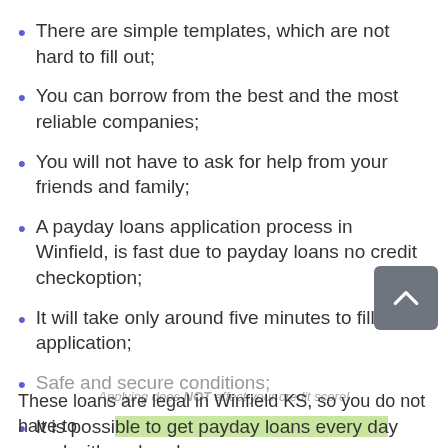There are simple templates, which are not hard to fill out;
You can borrow from the best and the most reliable companies;
You will not have to ask for help from your friends and family;
A payday loans application process in Winfield, is fast due to payday loans no credit checkoption;
It will take only around five minutes to fill in the application;
Safe and secure conditions;
It is possible to get payday loans every day and with no breaks.
Applying does NOT affect your credit score!
These loans are legal in Winfield KS, so you do not have to